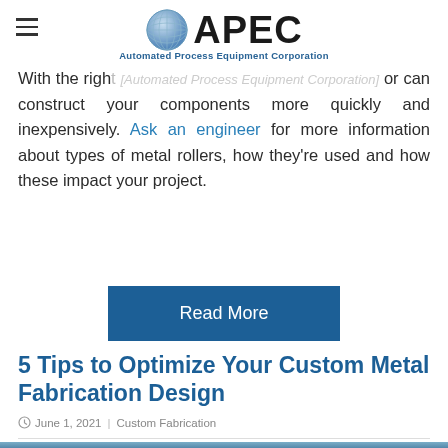APEC — Automated Process Equipment Corporation
With the right [equipment] or can construct your components more quickly and inexpensively. Ask an engineer for more information about types of metal rollers, how they're used and how these impact your project.
Read More
5 Tips to Optimize Your Custom Metal Fabrication Design
June 1, 2021 | Custom Fabrication
[Figure (photo): Partially visible photo of metal fabrication equipment at the bottom of the page]